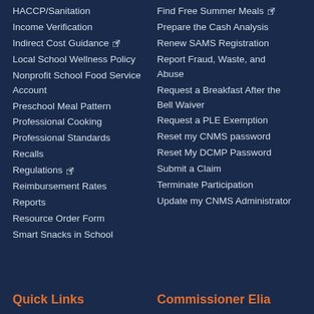HACCP/Sanitation
Income Verification
Indirect Cost Guidance [external]
Local School Wellness Policy
Nonprofit School Food Service Account
Preschool Meal Pattern
Professional Cooking
Professional Standards
Recalls
Regulations [external]
Reimbursement Rates
Reports
Resource Order Form
Smart Snacks in School
Find Free Summer Meals [external]
Prepare the Cash Analysis
Renew SAMS Registration
Report Fraud, Waste, and Abuse
Request a Breakfast After the Bell Waiver
Request a PLE Exemption
Reset my CNMS password
Reset My DCMP Password
Submit a Claim
Terminate Participation
Update my CNMS Administrator
Quick Links
Commissioner Elia